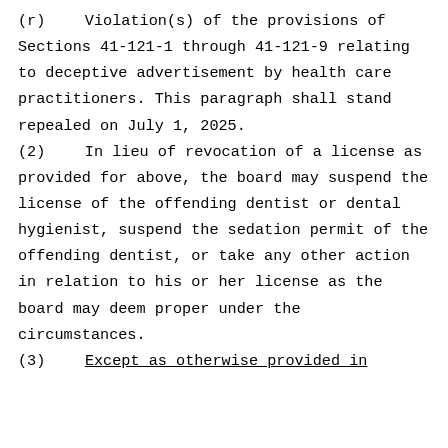(r)  Violation(s) of the provisions of Sections 41-121-1 through 41-121-9 relating to deceptive advertisement by health care practitioners.  This paragraph shall stand repealed on July 1, 2025.
(2)  In lieu of revocation of a license as provided for above, the board may suspend the license of the offending dentist or dental hygienist, suspend the sedation permit of the offending dentist, or take any other action in relation to his or her license as the board may deem proper under the circumstances.
(3)  Except as otherwise provided in